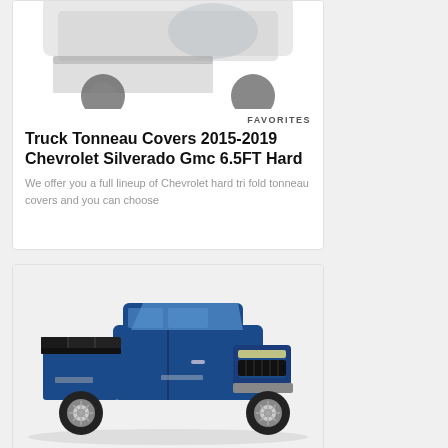[Figure (photo): Top portion of a truck tonneau cover product card, showing a partial truck/cover image cropped at top]
FAVORITES
Truck Tonneau Covers 2015-2019 Chevrolet Silverado Gmc 6.5FT Hard
We offer you a full lineup of Chevrolet hard tri fold tonneau covers and you can choose
[Figure (photo): Blue Chevrolet Silverado pickup truck with a black tri-fold hard tonneau cover installed on the bed, shown from a 3/4 front angle]